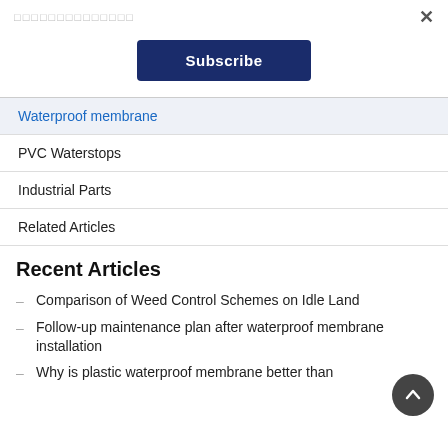□□□□□□□□□□□□□□
Subscribe
Waterproof membrane
PVC Waterstops
Industrial Parts
Related Articles
Recent Articles
Comparison of Weed Control Schemes on Idle Land
Follow-up maintenance plan after waterproof membrane installation
Why is plastic waterproof membrane better than